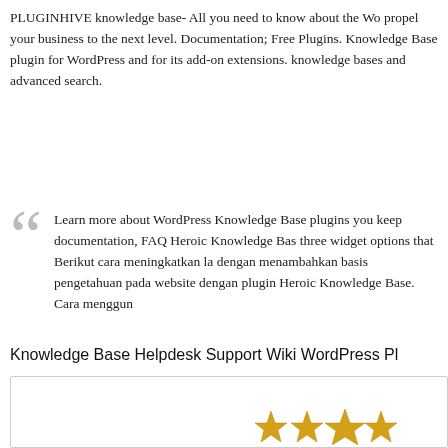PLUGINHIVE knowledge base- All you need to know about the Wo propel your business to the next level. Documentation; Free Plugins. Knowledge Base plugin for WordPress and for its add-on extensions. knowledge bases and advanced search.
Learn more about WordPress Knowledge Base plugins you keep documentation, FAQ Heroic Knowledge Bas three widget options that Berikut cara meningkatkan la dengan menambahkan basis pengetahuan pada website dengan plugin Heroic Knowledge Base. Cara menggun
Knowledge Base Helpdesk Support Wiki WordPress Pl
[Figure (other): A bordered box section showing 'What users say' heading with partial gold star rating icons visible at the bottom]